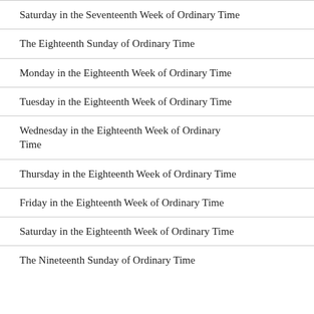Saturday in the Seventeenth Week of Ordinary Time
The Eighteenth Sunday of Ordinary Time
Monday in the Eighteenth Week of Ordinary Time
Tuesday in the Eighteenth Week of Ordinary Time
Wednesday in the Eighteenth Week of Ordinary Time
Thursday in the Eighteenth Week of Ordinary Time
Friday in the Eighteenth Week of Ordinary Time
Saturday in the Eighteenth Week of Ordinary Time
The Nineteenth Sunday of Ordinary Time